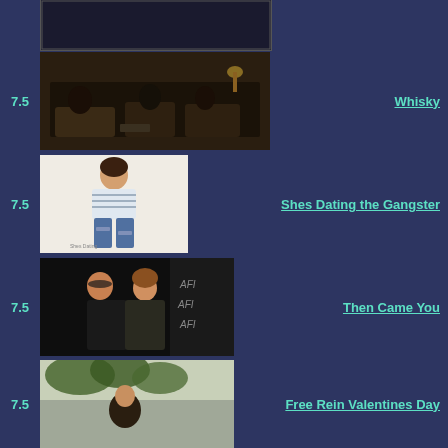[Figure (photo): Partial thumbnail of a movie/show at top]
7.5
[Figure (photo): Movie thumbnail for Whisky - people sitting in a room]
Whisky
7.5
[Figure (photo): Movie thumbnail for Shes Dating the Gangster - person standing]
Shes Dating the Gangster
7.5
[Figure (photo): Movie thumbnail for Then Came You - two people at AFI event]
Then Came You
7.5
[Figure (photo): Movie thumbnail for Free Rein Valentines Day - person with trees]
Free Rein Valentines Day